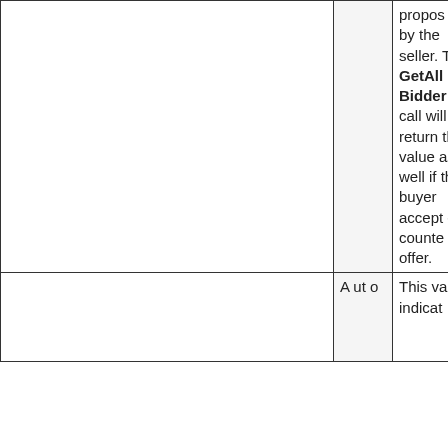|  |  | proposed by the seller. The GetAllBidders call will return this value as well if the buyer accepted a counter offer. |
|  | Auto | This value indicat... |